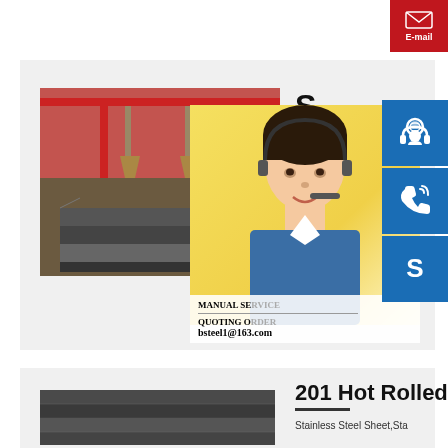[Figure (photo): E-mail button in red sidebar at top right]
[Figure (photo): Steel plates in industrial factory/warehouse setting - first product card image]
S
2
p
MANUAL SERVICE
QUOTING ORDER
bsteel1@163.com
[Figure (photo): Customer service representative woman with headset - popup banner]
[Figure (logo): Blue customer service icon (headset person)]
[Figure (logo): Blue phone/call icon]
[Figure (logo): Blue Skype icon]
[Figure (photo): Stainless steel sheets stacked - second product card image]
201 Hot Rolled W
Stainless Steel Sheet,Sta